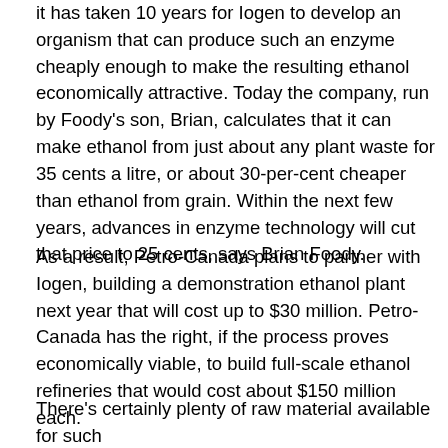it has taken 10 years for Iogen to develop an organism that can produce such an enzyme cheaply enough to make the resulting ethanol economically attractive. Today the company, run by Foody's son, Brian, calculates that it can make ethanol from just about any plant waste for 35 cents a litre, or about 30-per-cent cheaper than ethanol from grain. Within the next few years, advances in enzyme technology will cut that price to 25 cents, says Brian Foody.
As a result, Petro-Canada plans to partner with Iogen, building a demonstration ethanol plant next year that will cost up to $30 million. Petro-Canada has the right, if the process proves economically viable, to build full-scale ethanol refineries that would cost about $150 million each.
There's certainly plenty of raw material available for such